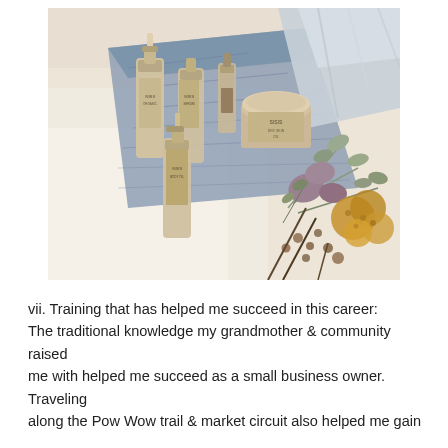[Figure (photo): Flat lay photo of skincare or beauty products (bottles and jars with labels) arranged on a fluffy white rug alongside dried botanicals, eucalyptus leaves, and dried flowers in amber and brown tones. A denim pouch and metallic bag are also visible.]
vii. Training that has helped me succeed in this career:
The traditional knowledge my grandmother & community raised me with helped me succeed as a small business owner. Traveling along the Pow Wow trail & market circuit also helped me gain